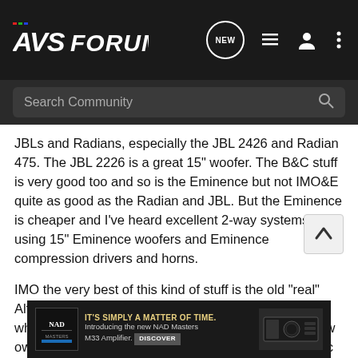AVS Forum
Search Community
JBLs and Radians, especially the JBL 2426 and Radian 475. The JBL 2226 is a great 15" woofer. The B&C stuff is very good too and so is the Eminence but not IMO&E quite as good as the Radian and JBL. But the Eminence is cheaper and I've heard excellent 2-way systems using 15" Eminence woofers and Eminence compression drivers and horns.
IMO the very best of this kind of stuff is the old "real" Altec stuff or the modern GPA (Great Plains Audio) which is the old Altec stuff made in the USA by the new owner of the Altec production equipment; the real Altec having been killed off by Telex and the gear bought by Altec's last head engineer Bill Hanuscheck. GPA is VERY
[Figure (screenshot): NAD advertisement banner: IT'S SIMPLY A MATTER OF TIME. Introducing the new NAD Masters M33 Amplifier. DISCOVER]